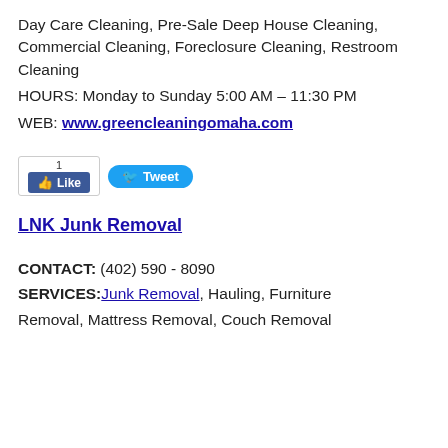Day Care Cleaning, Pre-Sale Deep House Cleaning, Commercial Cleaning, Foreclosure Cleaning, Restroom Cleaning
HOURS: Monday to Sunday 5:00 AM – 11:30 PM
WEB: www.greencleaningomaha.com
[Figure (other): Facebook Like button showing count of 1 and Twitter Tweet button]
LNK Junk Removal
CONTACT: (402) 590 - 8090
SERVICES: Junk Removal, Hauling, Furniture Removal, Mattress Removal, Couch Removal